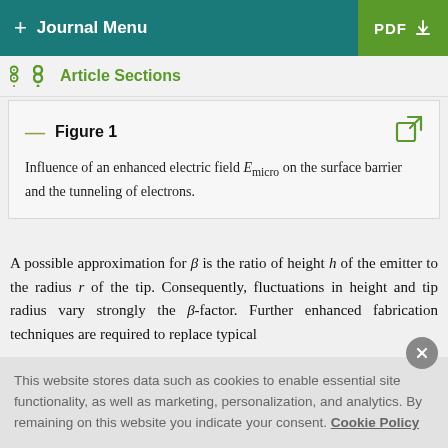+ Journal Menu | PDF
Article Sections
Figure 1 — Influence of an enhanced electric field E_micro on the surface barrier and the tunneling of electrons.
A possible approximation for β is the ratio of height h of the emitter to the radius r of the tip. Consequently, fluctuations in height and tip radius vary strongly the β-factor. Further enhanced fabrication techniques are required to replace typical
This website stores data such as cookies to enable essential site functionality, as well as marketing, personalization, and analytics. By remaining on this website you indicate your consent. Cookie Policy